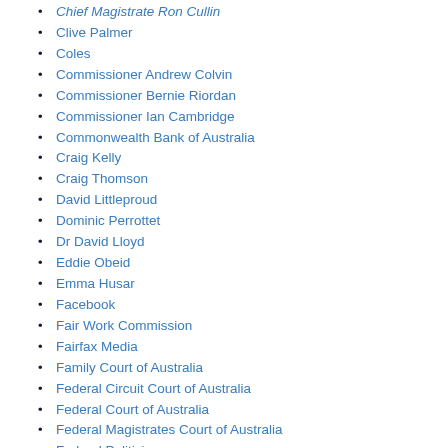Chief Magistrate Ron Cullin
Clive Palmer
Coles
Commissioner Andrew Colvin
Commissioner Bernie Riordan
Commissioner Ian Cambridge
Commonwealth Bank of Australia
Craig Kelly
Craig Thomson
David Littleproud
Dominic Perrottet
Dr David Lloyd
Eddie Obeid
Emma Husar
Facebook
Fair Work Commission
Fairfax Media
Family Court of Australia
Federal Circuit Court of Australia
Federal Court of Australia
Federal Magistrates Court of Australia
Federal Politicians
Flux Party
Gabrielle Upton
Gina Rinehart
Gladys Liu
Google